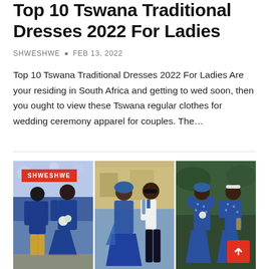Top 10 Tswana Traditional Dresses 2022 For Ladies
SHWESHWE • FEB 13, 2022
Top 10 Tswana Traditional Dresses 2022 For Ladies Are your residing in South Africa and getting to wed soon, then you ought to view these Tswana regular clothes for wedding ceremony apparel for couples. The…
[Figure (photo): Collage of three photos showing couples and ladies wearing Tswana traditional dresses in blue patterned fabric. Left panel: couple in matching blue outfits with floral background. Middle panel: woman in blue traditional dress with man in white shirt. Right panel: two women in blue dotted traditional dresses outdoors. SHWESHWE badge in top-left corner.]